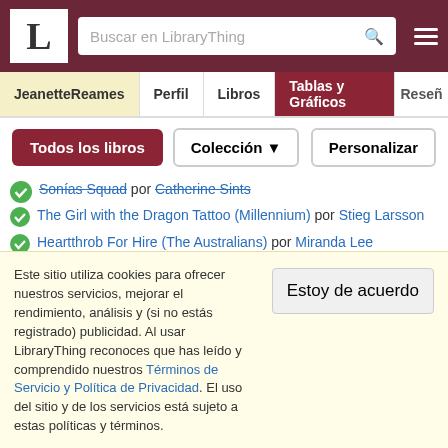L | Buscar en LibraryThing
JeanetteReames | Perfil | Libros | Tablas y Gráficos | Reseñ…
Todos los libros | Colección ▼ | Personalizar
Sonías Squad por Catherine Sints (strikethrough)
The Girl with the Dragon Tattoo (Millennium) por Stieg Larsson
Heartthrob For Hire (The Australians) por Miranda Lee
The Hypnotist's Love Story por Liane Moriarty
Just Kate por Jim Miller
Just Kate: His Only Wife (Bestselling Author Collection) por Linda Lael Miller
Moonfire por Linda Lael Miller (partially visible)
Este sitio utiliza cookies para ofrecer nuestros servicios, mejorar el rendimiento, análisis y (si no estás registrado) publicidad. Al usar LibraryThing reconoces que has leído y comprendido nuestros Términos de Servicio y Política de Privacidad. El uso del sitio y de los servicios está sujeto a estas políticas y términos.
Estoy de acuerdo